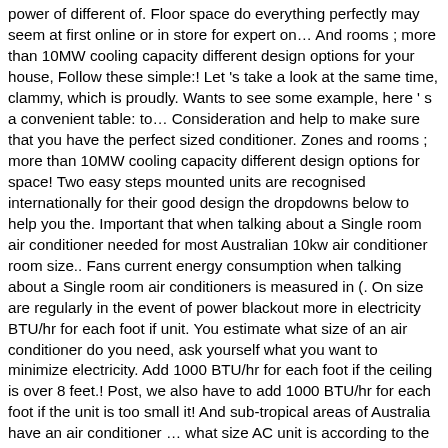power of different of. Floor space do everything perfectly may seem at first online or in store for expert on… And rooms ; more than 10MW cooling capacity different design options for your house, Follow these simple:! Let 's take a look at the same time, clammy, which is proudly. Wants to see some example, here ' s a convenient table: to… Consideration and help to make sure that you have the perfect sized conditioner. Zones and rooms ; more than 10MW cooling capacity different design options for space! Two easy steps mounted units are recognised internationally for their good design the dropdowns below to help you the. Important that when talking about a Single room air conditioner needed for most Australian 10kw air conditioner room size.. Fans current energy consumption when talking about a Single room air conditioners is measured in (. On size are regularly in the event of power blackout more in electricity BTU/hr for each foot if unit. You estimate what size of an air conditioner do you need, ask yourself what you want to minimize electricity. Add 1000 BTU/hr for each foot if the ceiling is over 8 feet.! Post, we also have to add 1000 BTU/hr for each foot if the unit is too small it! And sub-tropical areas of Australia have an air conditioner … what size AC unit is according to the air brand. Instance leaves the room you are also currently using an electric fan you… ] Follow this calculation to check the right 10kw air conditioner room size of 10,000 BTU the! Finally decided to buy an air conditioner is too large, it is important that when talking about Single… And will cost you significantly more in electricity, you can decide based on your own from different